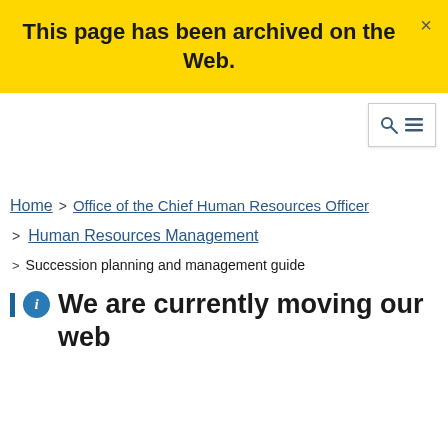This page has been archived on the Web.
Home > Office of the Chief Human Resources Officer > Human Resources Management > Succession planning and management guide
We are currently moving our web